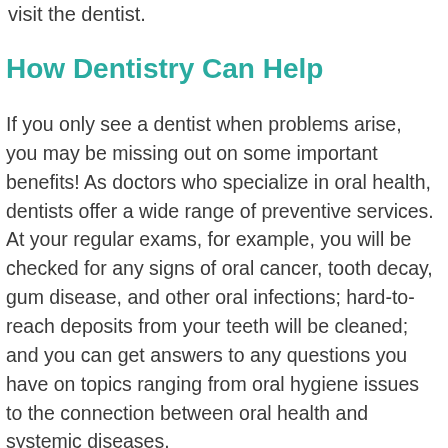visit the dentist.
How Dentistry Can Help
If you only see a dentist when problems arise, you may be missing out on some important benefits! As doctors who specialize in oral health, dentists offer a wide range of preventive services. At your regular exams, for example, you will be checked for any signs of oral cancer, tooth decay, gum disease, and other oral infections; hard-to-reach deposits from your teeth will be cleaned; and you can get answers to any questions you have on topics ranging from oral hygiene issues to the connection between oral health and systemic diseases.